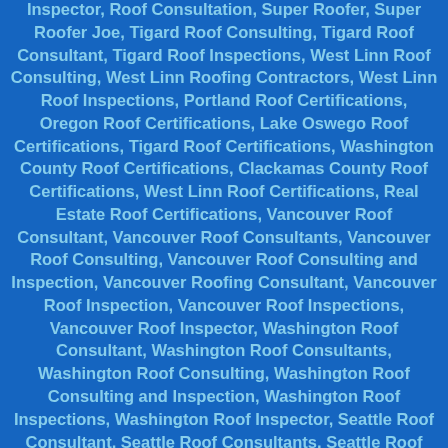Inspector, Roof Consultation, Super Roofer, Super Roofer Joe, Tigard Roof Consulting, Tigard Roof Consultant, Tigard Roof Inspections, West Linn Roof Consulting, West Linn Roofing Contractors, West Linn Roof Inspections, Portland Roof Certifications, Oregon Roof Certifications, Lake Oswego Roof Certifications, Tigard Roof Certifications, Washington County Roof Certifications, Clackamas County Roof Certifications, West Linn Roof Certifications, Real Estate Roof Certifications, Vancouver Roof Consultant, Vancouver Roof Consultants, Vancouver Roof Consulting, Vancouver Roof Consulting and Inspection, Vancouver Roofing Consultant, Vancouver Roof Inspection, Vancouver Roof Inspections, Vancouver Roof Inspector, Washington Roof Consultant, Washington Roof Consultants, Washington Roof Consulting, Washington Roof Consulting and Inspection, Washington Roof Inspections, Washington Roof Inspector, Seattle Roof Consultant, Seattle Roof Consultants, Seattle Roof Consulting, Seattle Roof Consulting and Inspection